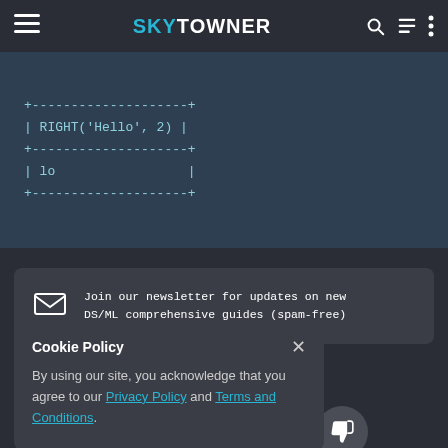SKYTOWNER
[Figure (screenshot): Dark-themed code block showing MySQL RIGHT() function output: | RIGHT('Hello', 2) | with result | lo |]
Join our newsletter for updates on new DS/ML comprehensive guides (spam-free)
Published by Arthur Yanagisawa
Edited by 0 others
Cookie Policy
By using our site, you acknowledge that you agree to our Privacy Policy and Terms and Conditions.
age useful?